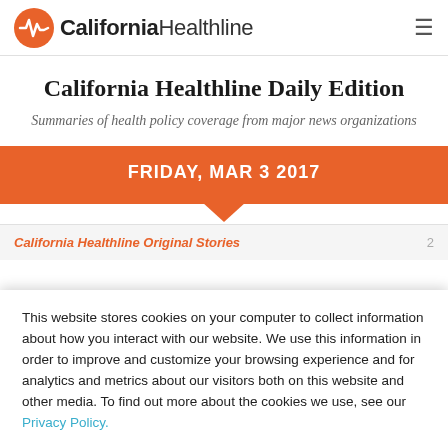California Healthline
California Healthline Daily Edition
Summaries of health policy coverage from major news organizations
FRIDAY, MAR 3 2017
California Healthline Original Stories  2
This website stores cookies on your computer to collect information about how you interact with our website. We use this information in order to improve and customize your browsing experience and for analytics and metrics about our visitors both on this website and other media. To find out more about the cookies we use, see our Privacy Policy.
Accept